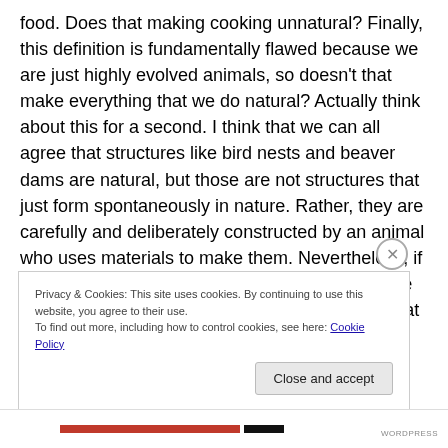food. Does that making cooking unnatural? Finally, this definition is fundamentally flawed because we are just highly evolved animals, so doesn't that make everything that we do natural? Actually think about this for a second. I think that we can all agree that structures like bird nests and beaver dams are natural, but those are not structures that just form spontaneously in nature. Rather, they are carefully and deliberately constructed by an animal who uses materials to make them. Nevertheless, if I make a wooden table, most people would agree that the table is unnatural, but how on earth is that any different from a
Privacy & Cookies: This site uses cookies. By continuing to use this website, you agree to their use.
To find out more, including how to control cookies, see here: Cookie Policy
Close and accept